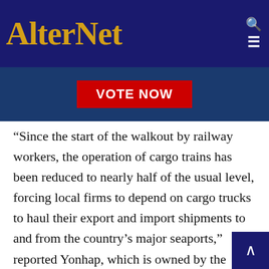AlterNet
[Figure (photo): Partial view of a person on a blue background with a red 'VOTE NOW' button overlay]
“Since the start of the walkout by railway workers, the operation of cargo trains has been reduced to nearly half of the usual level, forcing local firms to depend on cargo trucks to haul their export and import shipments to and from the country’s major seaports,” reported Yonhap, which is owned by the government.
Meanwhile, the ITF and Public Services International (PSI), the global federation of